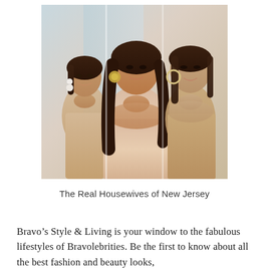[Figure (photo): Promotional photo of three women from The Real Housewives of New Jersey wearing nude/tan form-fitting dresses against a light blue/neutral background]
The Real Housewives of New Jersey
Bravo’s Style & Living is your window to the fabulous lifestyles of Bravolebrities. Be the first to know about all the best fashion and beauty looks,